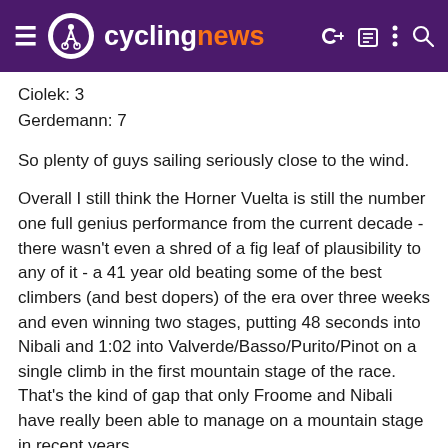cyclingnews
Ciolek: 3
Gerdemann: 7
So plenty of guys sailing seriously close to the wind.
Overall I still think the Horner Vuelta is still the number one full genius performance from the current decade - there wasn't even a shred of a fig leaf of plausibility to any of it - a 41 year old beating some of the best climbers (and best dopers) of the era over three weeks and even winning two stages, putting 48 seconds into Nibali and 1:02 into Valverde/Basso/Purito/Pinot on a single climb in the first mountain stage of the race. That's the kind of gap that only Froome and Nibali have really been able to manage on a mountain stage in recent years.
Then in a move OJ Simpson would be proud of, he released his data which shows his haemoglobin level miraculously going up 6% in the